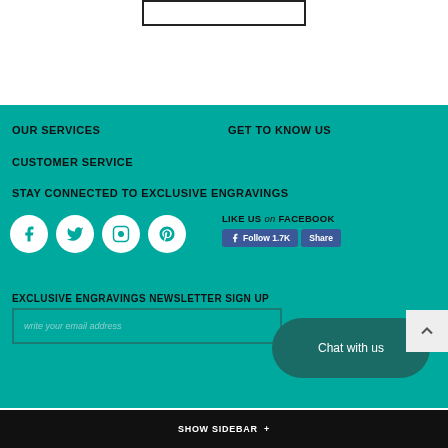[Figure (other): Search box outline at top of page]
OUR SERVICES
GET TO KNOW US
CUSTOMER SERVICE
STAY CONNECTED TO EXCLUSIVE ENGRAVINGS
[Figure (other): Social media icons: Facebook, Twitter, Instagram, Pinterest circles with white icons on teal background]
[Figure (other): Facebook Like Us widget showing Follow 1.7K and Share buttons]
EXCLUSIVE ENGRAVINGS NEWSLETTER SIGN UP
[Figure (other): Email input field with placeholder 'write your email address']
[Figure (other): Chat with us bubble button]
SHOW SIDEBAR +